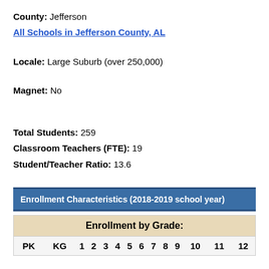County: Jefferson
All Schools in Jefferson County, AL
Locale: Large Suburb (over 250,000)
Magnet: No
Total Students: 259
Classroom Teachers (FTE): 19
Student/Teacher Ratio: 13.6
Enrollment Characteristics (2018-2019 school year)
| PK | KG | 1 | 2 | 3 | 4 | 5 | 6 | 7 | 8 | 9 | 10 | 11 | 12 |
| --- | --- | --- | --- | --- | --- | --- | --- | --- | --- | --- | --- | --- | --- |